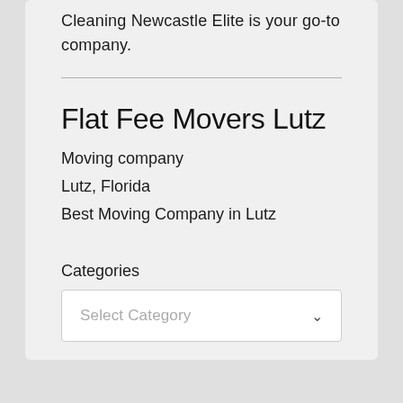Cleaning Newcastle Elite is your go-to company.
Flat Fee Movers Lutz
Moving company
Lutz, Florida
Best Moving Company in Lutz
Categories
Select Category